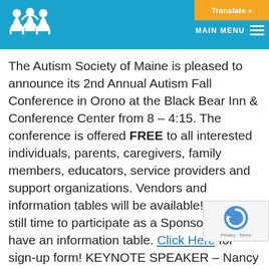Translate » MAIN MENU
The Autism Society of Maine is pleased to announce its 2nd Annual Autism Fall Conference in Orono at the Black Bear Inn & Conference Center from 8 – 4:15. The conference is offered FREE to all interested individuals, parents, caregivers, family members, educators, service providers and support organizations. Vendors and information tables will be available! There is still time to participate as a Sponsor or to have an information table. Click Here for sign-up form!  KEYNOTE SPEAKER – Nancy Tarshis, MA, MS, CCC-SLP.  As a Social Thinking Trainer and Speaker for Michelle Garcia-Winner's Social Thinking Methodologies, Nancy helps people with social emotional learning challenges improve how they interpret and respond to social information to better connect with others. See more information about presenters and...